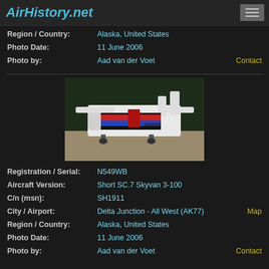AirHistory.net
Region / Country: Alaska, United States
Photo Date: 11 June 2006
Photo by: Aad van der Voet | Contact
[Figure (photo): Short SC.7 Skyvan aircraft with registration N549WB on a gravel airstrip, white fuselage with red and blue stripes, parked at Delta Junction Alaska, trees in background]
Registration / Serial: N549WB
Aircraft Version: Short SC.7 Skyvan 3-100
C/n (msn): SH1911
City / Airport: Delta Junction - All West (AK77) | Map
Region / Country: Alaska, United States
Photo Date: 11 June 2006
Photo by: Aad van der Voet | Contact